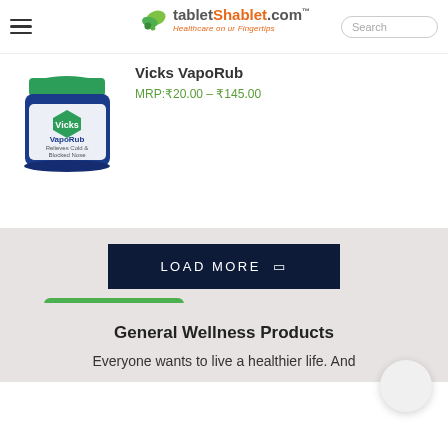tabletShablet.com — Healthcare on ur Fingertips
Vicks VapoRub
MRP:₹20.00 – ₹145.00
[Figure (photo): Vicks VapoRub jar product photo]
LOAD MORE
General Wellness Products
Everyone wants to live a healthier life. And